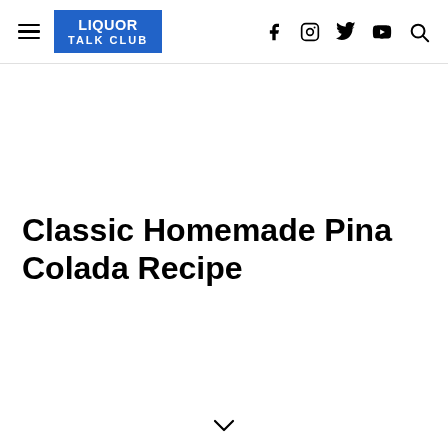LIQUOR TALK CLUB
Classic Homemade Pina Colada Recipe